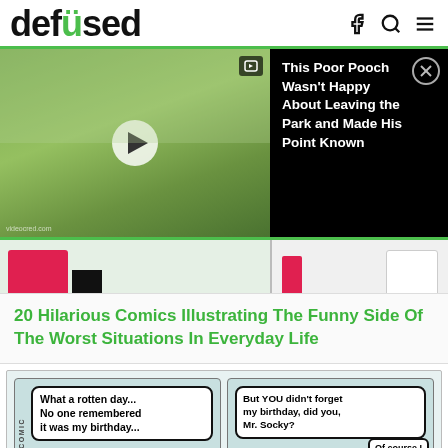defused
[Figure (screenshot): Video player thumbnail showing a grassy outdoor scene with a play button, overlaid with a dark panel reading 'This Poor Pooch Wasn't Happy About Leaving the Park and Made His Point Known' with a close (X) button]
[Figure (illustration): Comic strip panel showing characters at the bottom of the frame, partial view with colorful elements on green/teal border]
20 Hilarious Comics Illustrating The Funny Side Of The Worst Situations In Everyday Life
[Figure (illustration): Two-panel comic strip. Left panel speech bubble: 'What a rotten day... No one remembered it was my birthday...' Right panel speech bubble: 'But YOU didn't forget my birthday, did you, Mr. Socky? Of course I didn't, pal!' Both panels show a sad blue stick-figure character in a purple shirt near a door, with a sock puppet in the right panel. Watermark: NKINSCOMIC]